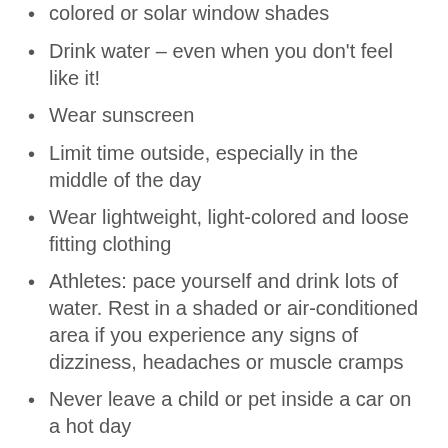colored or solar window shades (partial, top cut off)
Drink water – even when you don't feel like it!
Wear sunscreen
Limit time outside, especially in the middle of the day
Wear lightweight, light-colored and loose fitting clothing
Athletes: pace yourself and drink lots of water. Rest in a shaded or air-conditioned area if you experience any signs of dizziness, headaches or muscle cramps
Never leave a child or pet inside a car on a hot day
Bring your outdoor pets inside on extreme heat days (90 degrees or higher)